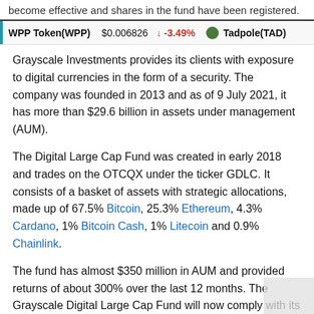become effective and shares in the fund have been registered.
WPP Token(WPP)  $0.006826  -3.49%  Tadpole(TAD)
Grayscale Investments provides its clients with exposure to digital currencies in the form of a security. The company was founded in 2013 and as of 9 July 2021, it has more than $29.6 billion in assets under management (AUM).
The Digital Large Cap Fund was created in early 2018 and trades on the OTCQX under the ticker GDLC. It consists of a basket of assets with strategic allocations, made up of 67.5% Bitcoin, 25.3% Ethereum, 4.3% Cardano, 1% Bitcoin Cash, 1% Litecoin and 0.9% Chainlink.
The fund has almost $350 million in AUM and provided returns of about 300% over the last 12 months. The Grayscale Digital Large Cap Fund will now comply with its obligations under the Exchange Act, including filing its reports and financial statements with the SEC.